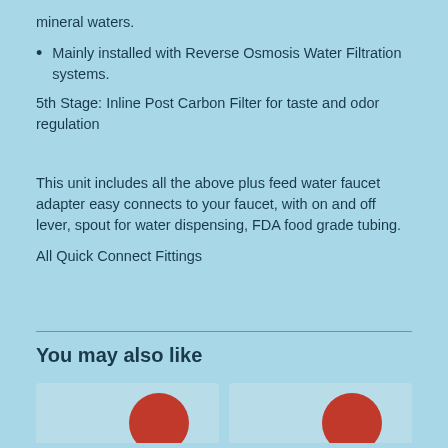mineral waters.
Mainly installed with Reverse Osmosis Water Filtration systems.
5th Stage: Inline Post Carbon Filter for taste and odor regulation
This unit includes all the above plus feed water faucet adapter easy connects to your faucet, with on and off lever, spout for water dispensing, FDA food grade tubing.
All Quick Connect Fittings
You may also like
[Figure (other): Two product card thumbnails partially visible at the bottom of the page, each with a red circular badge/button element]